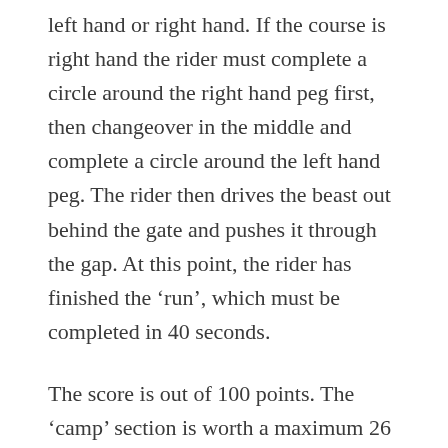left hand or right hand. If the course is right hand the rider must complete a circle around the right hand peg first, then changeover in the middle and complete a circle around the left hand peg. The rider then drives the beast out behind the gate and pushes it through the gap. At this point, the rider has finished the ‘run’, which must be completed in 40 seconds.
The score is out of 100 points. The ‘camp’ section is worth a maximum 26 points, the ‘run’ a maximum of four points and a further possible 70 points for ‘horsework’. A good Campdrafter is not just a fine horseman, but also has the skill to select a suitable beast, from the mob